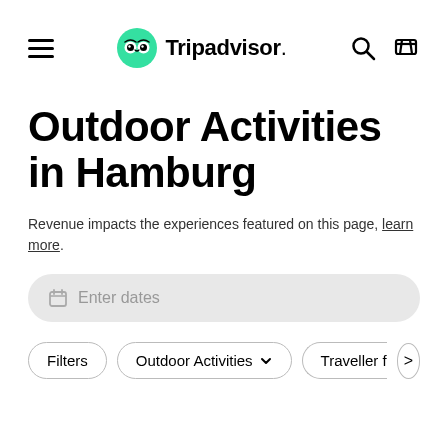Tripadvisor — Outdoor Activities in Hamburg
Outdoor Activities in Hamburg
Revenue impacts the experiences featured on this page, learn more.
Enter dates
Filters
Outdoor Activities
Traveller favo